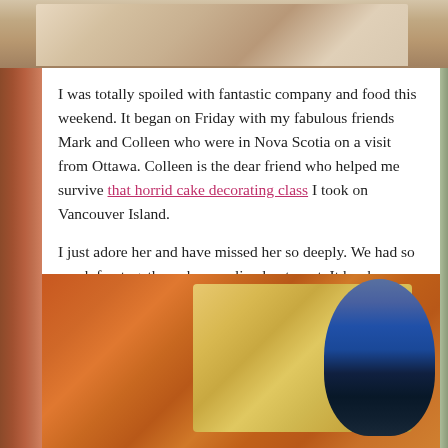[Figure (photo): Partial photo of people at top of page, cropped showing heads/shoulders]
I was totally spoiled with fantastic company and food this weekend. It began on Friday with my fabulous friends Mark and Colleen who were in Nova Scotia on a visit from Ottawa. Colleen is the dear friend who helped me survive that horrid cake decorating class I took on Vancouver Island.

I just adore her and have missed her so deeply. We had so much fun together when we lived out west. It has been way too long.
[Figure (photo): Close-up photo of fried fish and chips with mussels in a bowl on the right side]